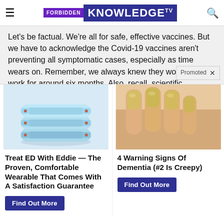FORBIDDEN KNOWLEDGE TV
Let's be factual. We're all for safe, effective vaccines. But we have to acknowledge the Covid-19 vaccines aren't preventing all symptomatic cases, especially as time wears on. Remember, we always knew they would only work for around six months. Also, recall, scientific experience tells us RNA vaccines in general don't work very we
[Figure (photo): Blue ring-shaped wearable device (Eddie) stacked on surface]
Treat ED With Eddie — The Proven, Comfortable Wearable That Comes With A Satisfaction Guarantee
Find Out More
[Figure (photo): Close-up of fingernails showing yellowing, warning sign of dementia]
4 Warning Signs Of Dementia (#2 Is Creepy)
Find Out More